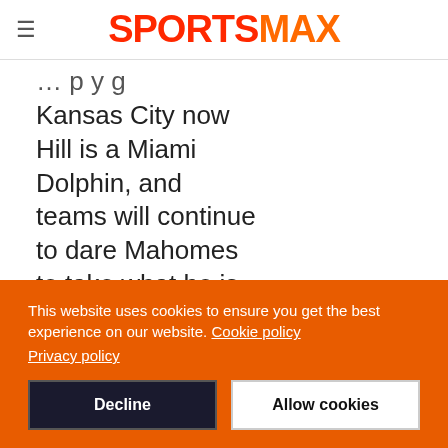SPORTSMAX
…playing Kansas City now Hill is a Miami Dolphin, and teams will continue to dare Mahomes to take what he is given underneath and attempt to limit his…
This website uses cookies to ensure you get the best experience on our website. Cookie policy
Privacy policy
Decline | Allow cookies